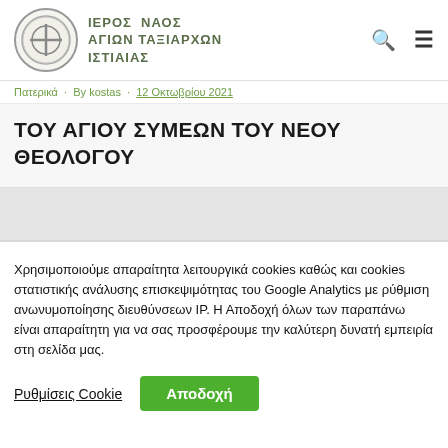ΙΕΡΟΣ ΝΑΟΣ ΑΓΙΩΝ ΤΑΞΙΑΡΧΩΝ ΙΣΤΙΑΙΑΣ
Πατερικά · By kostas · 12 Οκτωβρίου 2021
ΤΟΥ ΑΓΙΟΥ ΣΥΜΕΩΝ ΤΟΥ ΝΕΟΥ ΘΕΟΛΟΓΟΥ
Χρησιμοποιούμε απαραίτητα λειτουργικά cookies καθώς και cookies στατιστικής ανάλυσης επισκεψιμότητας του Google Analytics με ρύθμιση ανωνυμοποίησης διευθύνσεων IP. Η Αποδοχή όλων των παραπάνω είναι απαραίτητη για να σας προσφέρουμε την καλύτερη δυνατή εμπειρία στη σελίδα μας.
Ρυθμίσεις Cookie
Αποδοχή